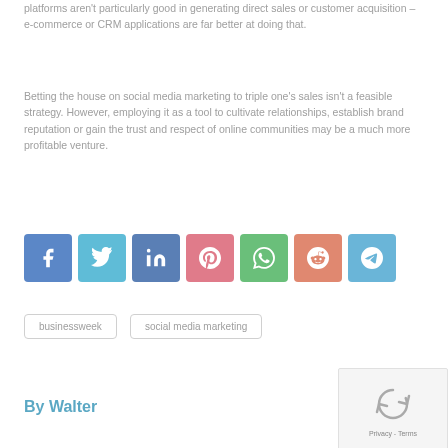platforms aren't particularly good in generating direct sales or customer acquisition – e-commerce or CRM applications are far better at doing that.
Betting the house on social media marketing to triple one's sales isn't a feasible strategy. However, employing it as a tool to cultivate relationships, establish brand reputation or gain the trust and respect of online communities may be a much more profitable venture.
[Figure (other): Social share buttons row: Facebook, Twitter, LinkedIn, Pinterest, WhatsApp, Reddit, Telegram]
businessweek
social media marketing
By Walter
[Figure (other): reCAPTCHA widget showing recycling arrows icon and Privacy - Terms text]